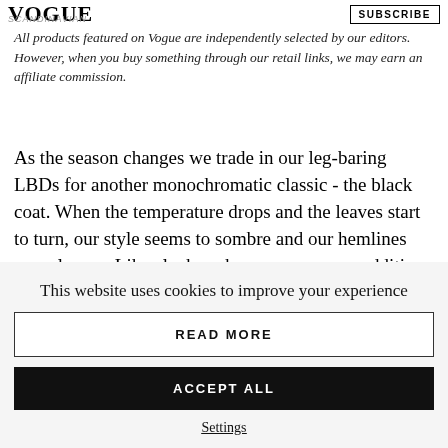VOGUE SCANDINAVIAN
All products featured on Vogue are independently selected by our editors. However, when you buy something through our retail links, we may earn an affiliate commission.
As the season changes we trade in our leg-baring LBDs for another monochromatic classic - the black coat. When the temperature drops and the leaves start to turn, our style seems to sombre and our hemlines grow longer. Like clockwork we crave a new addition to our hallway cupboards, and although a motley crew of alternatives vie for our attention, we still flick past them in lieu of our trusty old black coats.
This website uses cookies to improve your experience
READ MORE
ACCEPT ALL
Settings